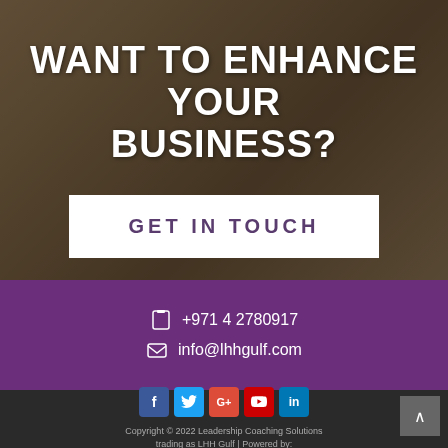WANT TO ENHANCE YOUR BUSINESS?
GET IN TOUCH
+971 4 2780917
info@lhhgulf.com
[Figure (illustration): Social media icons row: Facebook (blue), Twitter (light blue), Google+ (red), YouTube (red), LinkedIn (blue)]
Copyright © 2022 Leadership Coaching Solutions trading as LHH Gulf | Powered by: